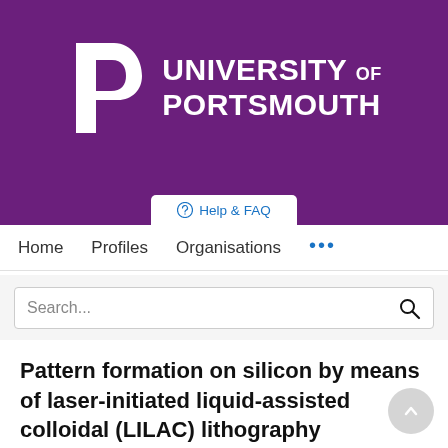[Figure (logo): University of Portsmouth logo — white P-shaped mark on purple background with 'UNIVERSITY OF PORTSMOUTH' text in white]
Help & FAQ
Home   Profiles   Organisations   ...
Search...
Pattern formation on silicon by means of laser-initiated liquid-assisted colloidal (LILAC) lithography